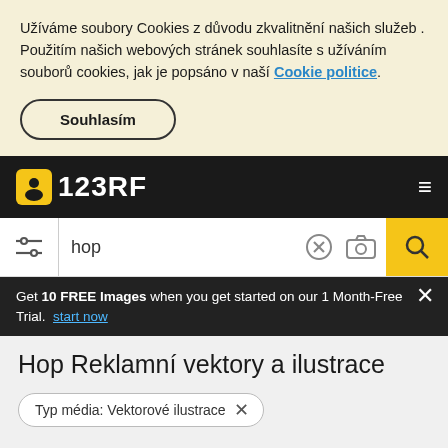Užíváme soubory Cookies z důvodu zkvalitnění našich služeb . Použitím našich webových stránek souhlasíte s užíváním souborů cookies, jak je popsáno v naší Cookie politice.
Souhlasím
[Figure (logo): 123RF logo with camera icon on black navigation bar]
[Figure (screenshot): Search bar with filter icon, search query 'hop', clear button, camera search icon, and yellow search button]
Get 10 FREE Images when you get started on our 1 Month-Free Trial. start now
Hop Reklamní vektory a ilustrace
Typ média: Vektorové ilustrace ×